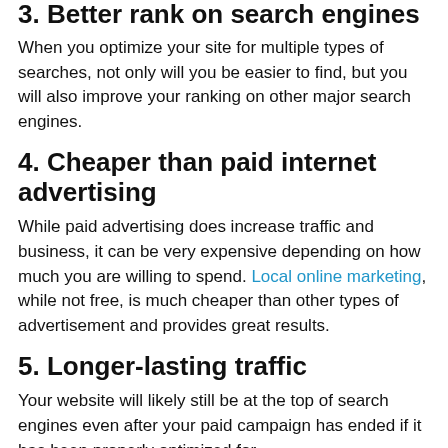3. Better rank on search engines
When you optimize your site for multiple types of searches, not only will you be easier to find, but you will also improve your ranking on other major search engines.
4. Cheaper than paid internet advertising
While paid advertising does increase traffic and business, it can be very expensive depending on how much you are willing to spend. Local online marketing, while not free, is much cheaper than other types of advertisement and provides great results.
5. Longer-lasting traffic
Your website will likely still be at the top of search engines even after your paid campaign has ended if it has been properly optimized for